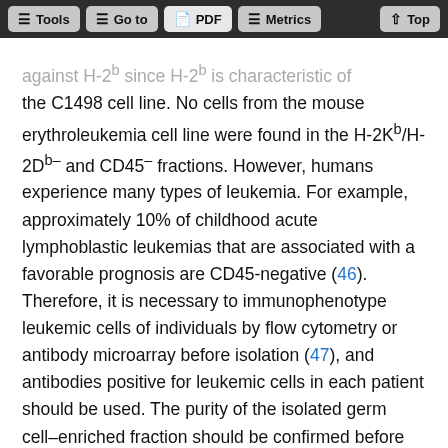Tools | Go to | PDF | Metrics | Top
against H-2b since H-2b is characteristic of the C1498 cell line. No cells from the mouse erythroleukemia cell line were found in the H-2Kb/H-2Db– and CD45– fractions. However, humans experience many types of leukemia. For example, approximately 10% of childhood acute lymphoblastic leukemias that are associated with a favorable prognosis are CD45-negative (46). Therefore, it is necessary to immunophenotype leukemic cells of individuals by flow cytometry or antibody microarray before isolation (47), and antibodies positive for leukemic cells in each patient should be used. The purity of the isolated germ cell–enriched fraction should be confirmed before transplantation by a second analysis with FACS or another sensitive method.